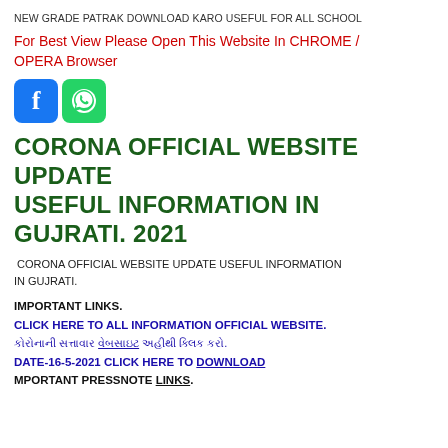NEW GRADE PATRAK DOWNLOAD KARO USEFUL FOR ALL SCHOOL
For Best View Please Open This Website In CHROME / OPERA Browser
[Figure (logo): Facebook and WhatsApp social media icon buttons]
CORONA OFFICIAL WEBSITE UPDATE USEFUL INFORMATION IN GUJRATI. 2021
CORONA OFFICIAL WEBSITE UPDATE USEFUL INFORMATION IN GUJRATI.
IMPORTANT LINKS.
CLICK HERE TO ALL INFORMATION OFFICIAL WEBSITE.
કોરોનાની સત્તાવાર વેબસાઇટ અહીથી ક્લિક કરો.
DATE-16-5-2021 CLICK HERE TO DOWNLOAD
MPORTANT PRESSNOTE LINKS.